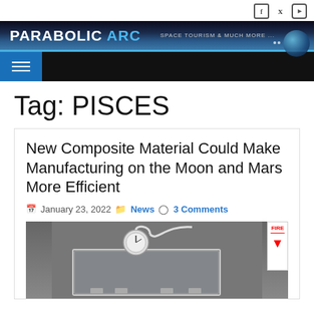PARABOLIC ARC — SPACE TOURISM & MUCH MORE ...
Tag: PISCES
New Composite Material Could Make Manufacturing on the Moon and Mars More Efficient
January 23, 2022  News  3 Comments
[Figure (photo): Laboratory equipment: a clear acrylic box or chamber with tubing, gauges, and fittings, with a fire extinguisher sign visible in the background.]